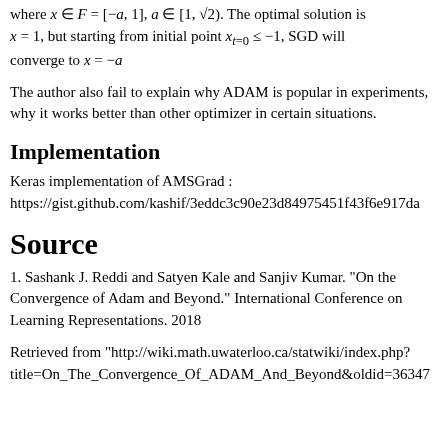where x ∈ F = [−a, 1], a ∈ [1, √2). The optimal solution is x = 1, but starting from initial point x_{t=0} ≤ −1, SGD will converge to x = −a
The author also fail to explain why ADAM is popular in experiments, why it works better than other optimizer in certain situations.
Implementation
Keras implementation of AMSGrad : https://gist.github.com/kashif/3eddc3c90e23d84975451f43f6e917da
Source
1. Sashank J. Reddi and Satyen Kale and Sanjiv Kumar. "On the Convergence of Adam and Beyond." International Conference on Learning Representations. 2018
Retrieved from "http://wiki.math.uwaterloo.ca/statwiki/index.php?title=On_The_Convergence_Of_ADAM_And_Beyond&oldid=36347